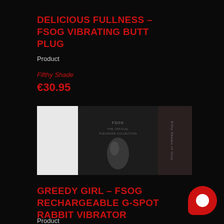DELICIOUS FULLNESS – FSOG VIBRATING BUTT PLUG
Product
Fifthy Shade
€30.95
[Figure (photo): Product packaging for FSOG (Fifty Shades of Grey) vibrating butt plug showing dark box with product visible inside]
GREEDY GIRL – FSOG RECHARGEABLE G-SPOT RABBIT VIBRATOR
Product